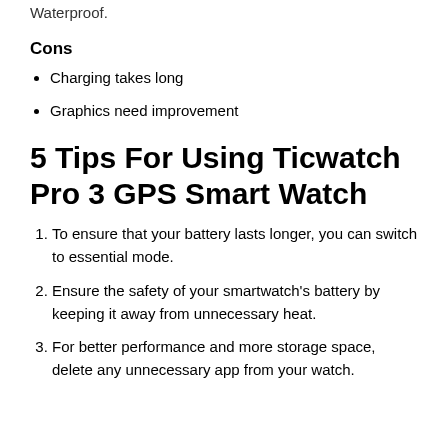Waterproof.
Cons
Charging takes long
Graphics need improvement
5 Tips For Using Ticwatch Pro 3 GPS Smart Watch
To ensure that your battery lasts longer, you can switch to essential mode.
Ensure the safety of your smartwatch's battery by keeping it away from unnecessary heat.
For better performance and more storage space, delete any unnecessary app from your watch.